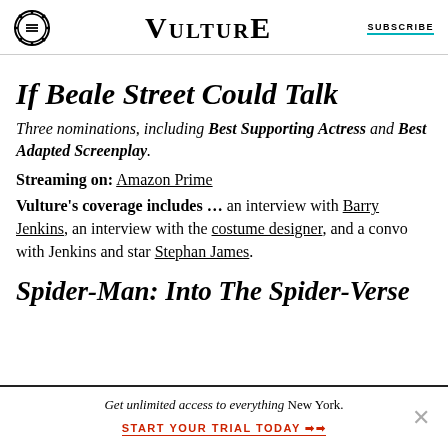VULTURE | SUBSCRIBE
If Beale Street Could Talk
Three nominations, including Best Supporting Actress and Best Adapted Screenplay.
Streaming on: Amazon Prime
Vulture's coverage includes … an interview with Barry Jenkins, an interview with the costume designer, and a convo with Jenkins and star Stephan James.
Spider-Man: Into The Spider-Verse
Get unlimited access to everything New York.
START YOUR TRIAL TODAY ➤➤